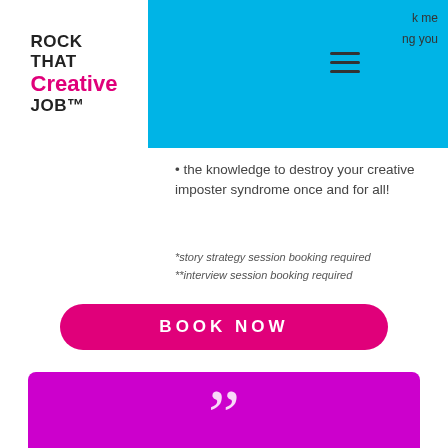[Figure (logo): Rock That Creative Job logo with pink cursive 'Creative' text]
[Figure (screenshot): Blue navigation bar with hamburger menu icon and partial text]
the knowledge to destroy your creative imposter syndrome once and for all!
*story strategy session booking required
**interview session booking required
BOOK NOW
"As a late starter to a career in graphic design with major imposter syndrome, Jamie really helped me understand and trust that I was a valuable future asset to some lucky company.*
Abigail P.
Graphic Designer